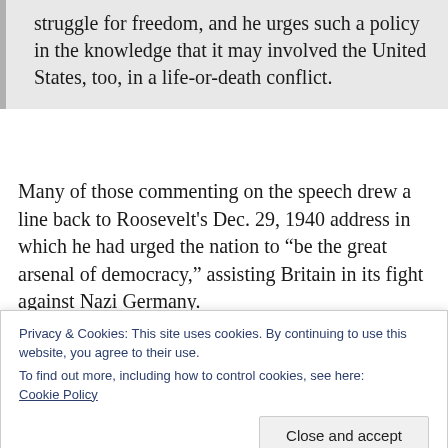struggle for freedom, and he urges such a policy in the knowledge that it may involved the United States, too, in a life-or-death conflict.
Many of those commenting on the speech drew a line back to Roosevelt's Dec. 29, 1940 address in which he had urged the nation to “be the great arsenal of democracy,” assisting Britain in its fight against Nazi Germany.
[Figure (photo): Black and white photograph strip, partially visible at bottom of page]
In
Privacy & Cookies: This site uses cookies. By continuing to use this website, you agree to their use.
To find out more, including how to control cookies, see here:
Cookie Policy
Close and accept